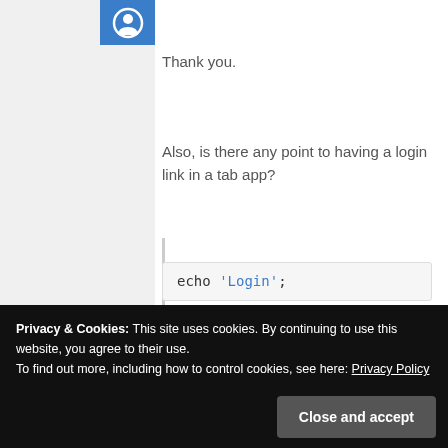July 15, 2014 at 3:24 PM
Thank you.
Also, is there any point to having a login link in a tab app?
echo 'Login';
Privacy & Cookies: This site uses cookies. By continuing to use this website, you agree to their use.
To find out more, including how to control cookies, see here: Privacy Policy
Close and accept